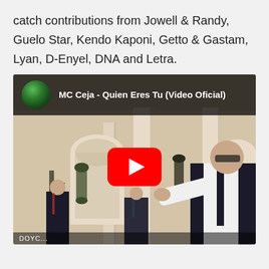catch contributions from Jowell & Randy, Guelo Star, Kendo Kaponi, Getto & Gastam, Lyan, D-Enyel, DNA and Letra.
[Figure (screenshot): YouTube video embed thumbnail showing MC Ceja - Quien Eres Tu (Video Oficial). The thumbnail shows a man in a white shirt and dark tie pointing at the camera, standing in front of a mansion with columns. Other men in suits are visible in the background. A YouTube play button is overlaid in the center-right of the image. At the top is a dark bar with a circular avatar of MC Ceja and the video title.]